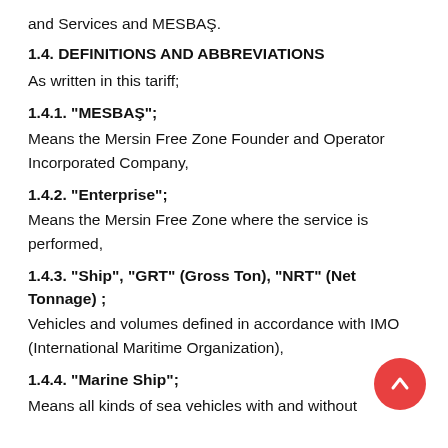and Services and MESBAŞ.
1.4. DEFINITIONS AND ABBREVIATIONS
As written in this tariff;
1.4.1. "MESBAŞ";
Means the Mersin Free Zone Founder and Operator Incorporated Company,
1.4.2. "Enterprise";
Means the Mersin Free Zone where the service is performed,
1.4.3. "Ship", "GRT" (Gross Ton), "NRT" (Net Tonnage) ;
Vehicles and volumes defined in accordance with IMO (International Maritime Organization),
1.4.4. "Marine Ship";
Means all kinds of sea vehicles with and without